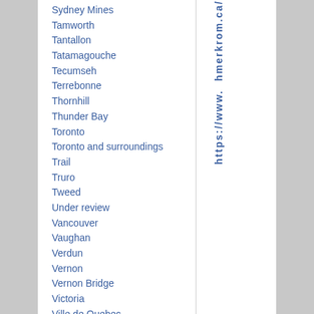Sydney Mines
Tamworth
Tantallon
Tatamagouche
Tecumseh
Terrebonne
Thornhill
Thunder Bay
Toronto
Toronto and surroundings
Trail
Truro
Tweed
Under review
Vancouver
Vaughan
Verdun
Vernon
Vernon Bridge
Victoria
Ville de Quebec
hmerkrom.ca/ https://www.